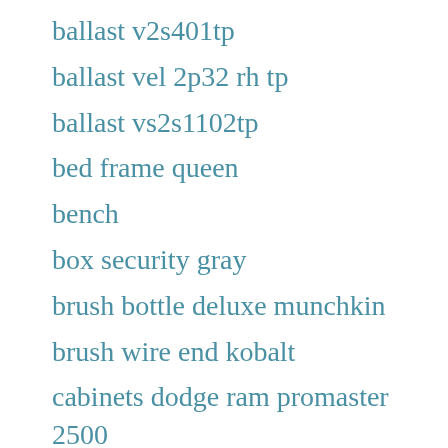ballast v2s401tp
ballast vel 2p32 rh tp
ballast vs2s1102tp
bed frame queen
bench
box security gray
brush bottle deluxe munchkin
brush wire end kobalt
cabinets dodge ram promaster 2500
car lights
cartridge canon pfi 107bk
cartridge canon pfi 107...